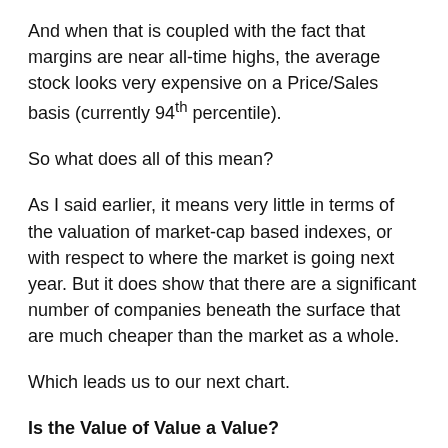And when that is coupled with the fact that margins are near all-time highs, the average stock looks very expensive on a Price/Sales basis (currently 94th percentile).
So what does all of this mean?
As I said earlier, it means very little in terms of the valuation of market-cap based indexes, or with respect to where the market is going next year. But it does show that there are a significant number of companies beneath the surface that are much cheaper than the market as a whole.
Which leads us to our next chart.
Is the Value of Value a Value?
Even, though the market as a whole is expensive, there is some good news for value investors (at least if you are one of the people like me who still thinks valuation will